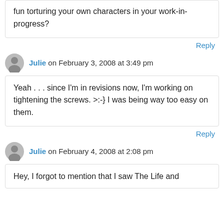fun torturing your own characters in your work-in-progress?
Reply
Julie on February 3, 2008 at 3:49 pm
Yeah . . . since I'm in revisions now, I'm working on tightening the screws. >:-} I was being way too easy on them.
Reply
Julie on February 4, 2008 at 2:08 pm
Hey, I forgot to mention that I saw The Life and